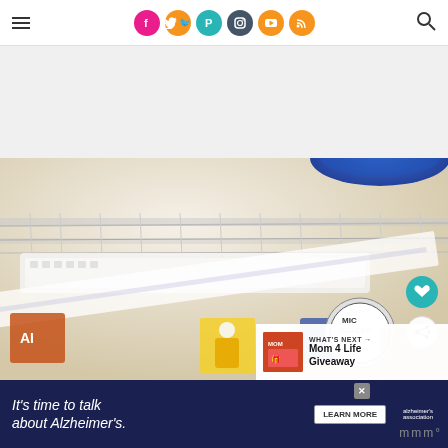Navigation bar with hamburger menu, social icons (Facebook, Twitter, Pinterest, Instagram, YouTube, RSS), and search icon
[Figure (photo): White advertisement/banner placeholder area above main photo]
[Figure (photo): Main photo showing a desktop scene with a blue bowl, white keyboard, notebook/planner, and various items including a Mr. Clean circular logo and mail items with a person in a yellow jacket, slightly blurred/defocused]
[Figure (infographic): What's Next panel: thumbnail image with text 'WHAT'S NEXT → Mom 4 Life Giveaway']
[Figure (infographic): Bottom advertisement banner: 'It's time to talk about Alzheimer's.' with Learn More button, Alzheimer's Association logo, close button, and 'mmm°' text on right]